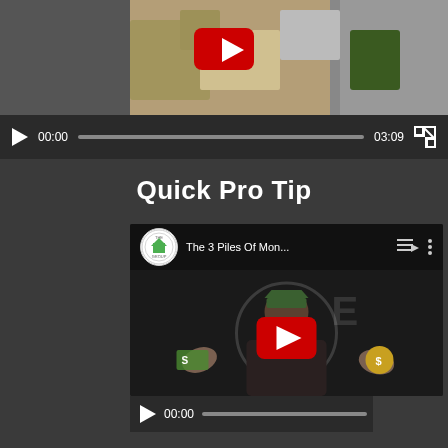[Figure (screenshot): Aerial video player showing a top-down view of a residential property with a YouTube play button overlay, video controls showing 00:00 / 03:09]
Quick Pro Tip
[Figure (screenshot): Embedded YouTube video player showing 'The 3 Piles Of Mon...' from The Group channel, with a person holding money, video controls showing 00:00 / 02:42]